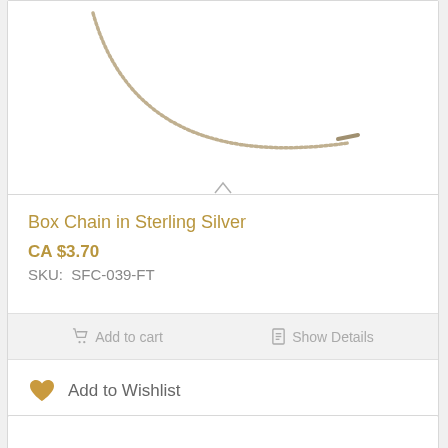[Figure (photo): Product photo of a box chain in sterling silver, showing a curved thin beaded necklace on white background]
Box Chain in Sterling Silver
CA $3.70
SKU:  SFC-039-FT
Add to cart
Show Details
Add to Wishlist